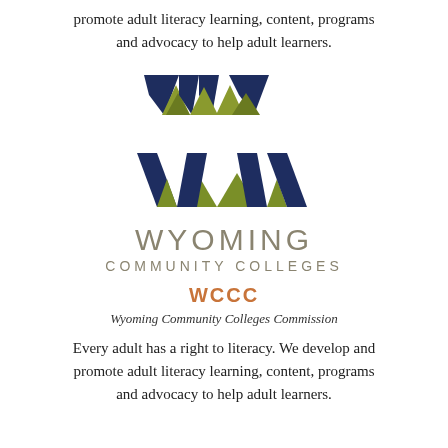promote adult literacy learning, content, programs and advocacy to help adult learners.
[Figure (logo): Wyoming Community Colleges logo: stylized W shape with navy blue and olive green chevron/mountain design, followed by 'WYOMING' in large spaced gray letters and 'COMMUNITY COLLEGES' in smaller spaced gray letters below]
WCCC
Wyoming Community Colleges Commission
Every adult has a right to literacy. We develop and promote adult literacy learning, content, programs and advocacy to help adult learners.